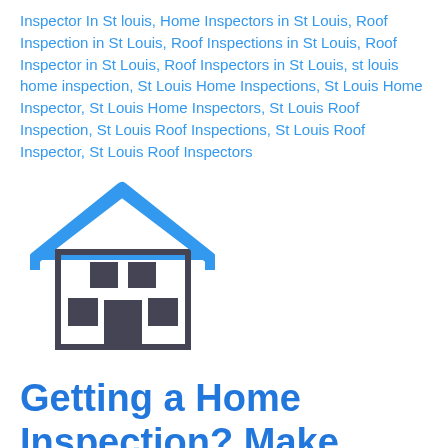Inspector In St louis, Home Inspectors in St Louis, Roof Inspection in St Louis, Roof Inspections in St Louis, Roof Inspector in St Louis, Roof Inspectors in St Louis, st louis home inspection, St Louis Home Inspections, St Louis Home Inspector, St Louis Home Inspectors, St Louis Roof Inspection, St Louis Roof Inspections, St Louis Roof Inspector, St Louis Roof Inspectors
[Figure (illustration): A simple line-art house icon with a blue roof/outline and dark gray windows and door]
Getting a Home Inspection? Make Sure